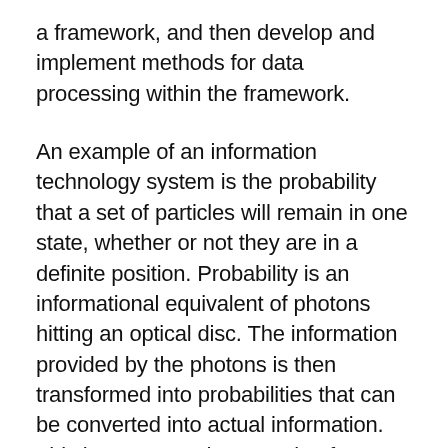a framework, and then develop and implement methods for data processing within the framework.
An example of an information technology system is the probability that a set of particles will remain in one state, whether or not they are in a definite position. Probability is an informational equivalent of photons hitting an optical disc. The information provided by the photons is then transformed into probabilities that can be converted into actual information. This is a very crude example of information and its importance in the world of pragmatics and business; however it clearly shows how important it is to extract, process and store information in order to make decisions.